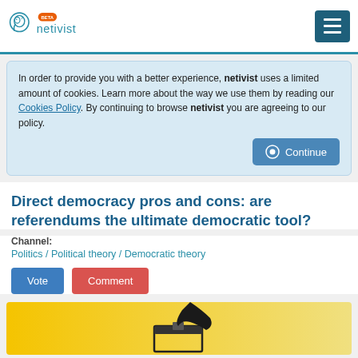netivist BETA
In order to provide you with a better experience, netivist uses a limited amount of cookies. Learn more about the way we use them by reading our Cookies Policy. By continuing to browse netivist you are agreeing to our policy.
Direct democracy pros and cons: are referendums the ultimate democratic tool?
Channel:
Politics / Political theory / Democratic theory
[Figure (illustration): Illustration showing a hand putting a ballot into a ballot box, on a yellow gradient background.]